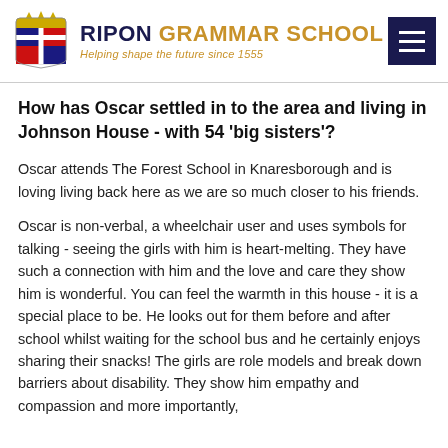RIPON GRAMMAR SCHOOL — Helping shape the future since 1555
How has Oscar settled in to the area and living in Johnson House - with 54 'big sisters'?
Oscar attends The Forest School in Knaresborough and is loving living back here as we are so much closer to his friends.
Oscar is non-verbal, a wheelchair user and uses symbols for talking - seeing the girls with him is heart-melting. They have such a connection with him and the love and care they show him is wonderful. You can feel the warmth in this house - it is a special place to be. He looks out for them before and after school whilst waiting for the school bus and he certainly enjoys sharing their snacks! The girls are role models and break down barriers about disability. They show him empathy and compassion and more importantly,